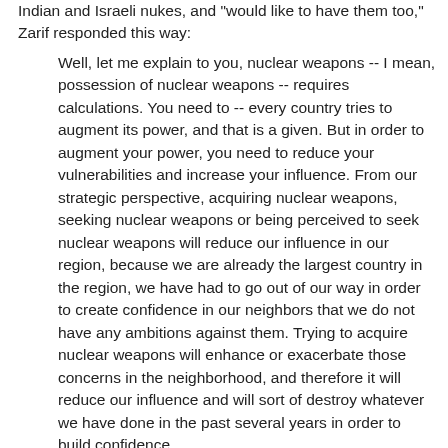Indian and Israeli nukes, and 'would like to have them too,' Zarif responded this way:
Well, let me explain to you, nuclear weapons -- I mean, possession of nuclear weapons -- requires calculations. You need to -- every country tries to augment its power, and that is a given. But in order to augment your power, you need to reduce your vulnerabilities and increase your influence. From our strategic perspective, acquiring nuclear weapons, seeking nuclear weapons or being perceived to seek nuclear weapons will reduce our influence in our region, because we are already the largest country in the region, we have had to go out of our way in order to create confidence in our neighbors that we do not have any ambitions against them. Trying to acquire nuclear weapons will enhance or exacerbate those concerns in the neighborhood, and therefore it will reduce our influence and will sort of destroy whatever we have done in the past several years in order to build confidence.